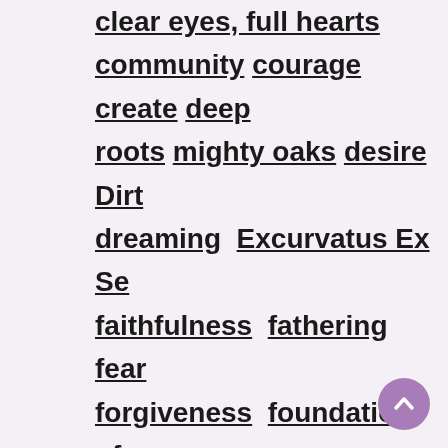clear eyes, full hearts community courage create deep roots mighty oaks desire Dirt dreaming Excurvatus Ex Se faithfulness fathering fear forgiveness foundation of ManSchool freedom generosity God's Glory Goliaths great coaches hope humility integrity intimacy Life of God manhood marriage pornography
[Figure (other): Purple circular scroll-to-top button with upward chevron arrow]